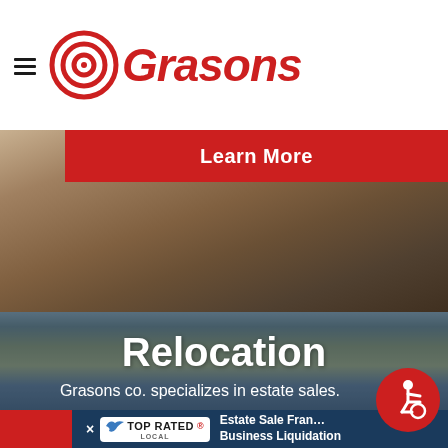[Figure (logo): Grasons company logo with red circular target/bullseye icon and red italic bold 'Grasons' text, with hamburger menu lines to the left]
[Figure (photo): Photo of people (elderly) looking at a map, partially visible behind the red Learn More button]
Learn More
[Figure (photo): Outdoor beach/coastal scene with elderly Asian couple, man with gray hair visible on right side, woman with dark hair on left]
Relocation
Grasons co. specializes in estate sales.
[Figure (logo): Red circular accessibility icon with wheelchair user symbol]
[Figure (logo): Top Rated Local badge in white rounded rectangle with blue arrow/bird icon]
Estate Sale Franchise
Business Liquidation